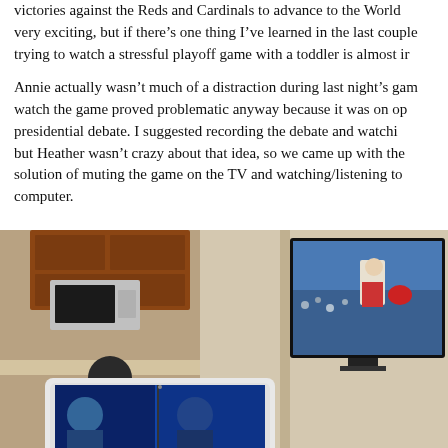victories against the Reds and Cardinals to advance to the World Series. It's very exciting, but if there's one thing I've learned in the last couple of years, trying to watch a stressful playoff game with a toddler is almost im...
Annie actually wasn't much of a distraction during last night's game, but trying to watch the game proved problematic anyway because it was on opposite the presidential debate. I suggested recording the debate and watching it afterward, but Heather wasn't crazy about that idea, so we came up with the compromise solution of muting the game on the TV and watching/listening to the debate on the computer.
[Figure (photo): A living room scene showing a person sitting in front of a TV displaying a baseball game, and a white laptop/tablet in the foreground also showing what appears to be a debate or broadcast. The room has warm lighting with kitchen cabinets visible in the background.]